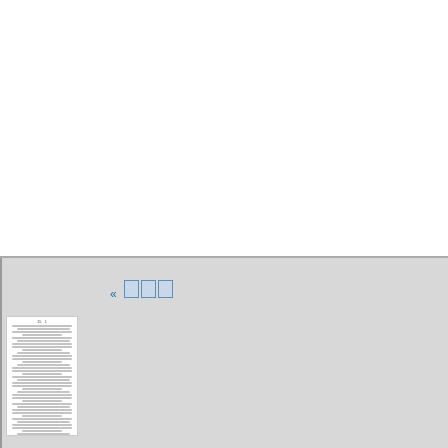ns religious education, of the rig as woman began to emerge as a s found voice. For seventy years n own children. In almost every fu and equal guardianship obtains i obtain to any such extent where t suffrage States have this law. The work of a woman lawyer.
Six of the woman voting State has done so. Sixty-three per cent
[Figure (screenshot): A book reader UI element showing a navigation bar with back arrow and blue page-number boxes (<<, and three rectangular boxes), and a miniature rendered page of dense small text below it, on a gray background.]